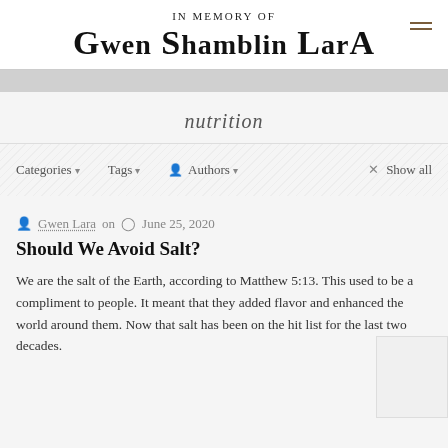IN MEMORY OF
GWEN SHAMBLIN LARA
nutrition
Categories ▼   Tags ▼   👤 Authors ▼   × Show all
Gwen Lara on   June 25, 2020
Should We Avoid Salt?
We are the salt of the Earth, according to Matthew 5:13. This used to be a compliment to people. It meant that they added flavor and enhanced the world around them. Now that salt has been on the hit list for the last two decades.